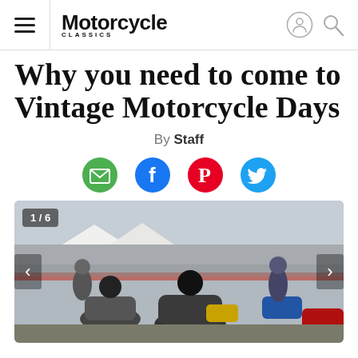Motorcycle Classics
Why you need to come to Vintage Motorcycle Days
By Staff
[Figure (photo): Photo of riders on vintage motorcycles at Vintage Motorcycle Days event, with a large crowd and white tents in the background. Counter showing 1/6 with previous and next navigation arrows.]